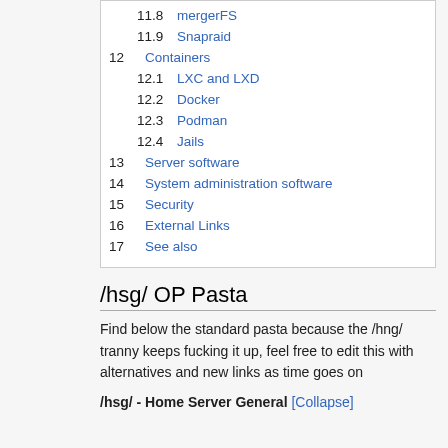11.8 mergerFS
11.9 Snapraid
12 Containers
12.1 LXC and LXD
12.2 Docker
12.3 Podman
12.4 Jails
13 Server software
14 System administration software
15 Security
16 External Links
17 See also
/hsg/ OP Pasta
Find below the standard pasta because the /hng/ tranny keeps fucking it up, feel free to edit this with alternatives and new links as time goes on
/hsg/ - Home Server General [Collapse]